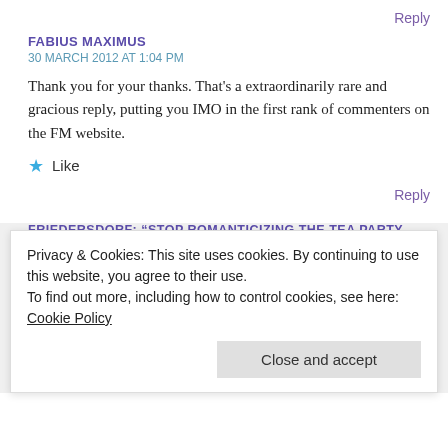Reply
FABIUS MAXIMUS
30 MARCH 2012 AT 1:04 PM
Thank you for your thanks. That’s a extraordinarily rare and gracious reply, putting you IMO in the first rank of commenters on the FM website.
Like
Reply
FRIEDERSDORF: “STOP ROMANTICIZING THE TEA PARTY MOVEMENT”
7 APRIL 2012 AT 6:31 PM
Privacy & Cookies: This site uses cookies. By continuing to use this website, you agree to their use.
To find out more, including how to control cookies, see here: Cookie Policy
Close and accept